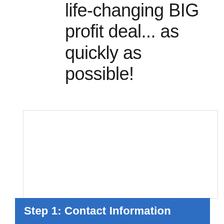life-changing BIG profit deal... as quickly as possible!
[Figure (other): White box with a light border, likely containing an image or form content area (blank/placeholder).]
Step 1: Contact Information